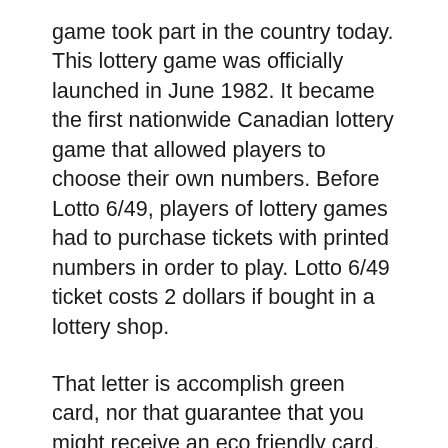game took part in the country today. This lottery game was officially launched in June 1982. It became the first nationwide Canadian lottery game that allowed players to choose their own numbers. Before Lotto 6/49, players of lottery games had to purchase tickets with printed numbers in order to play. Lotto 6/49 ticket costs 2 dollars if bought in a lottery shop.
That letter is accomplish green card, nor that guarantee that you might receive an eco friendly card. Remember, the stakes are high for the DV Lottery 2012, more than one thousand more applicants is actually selected in Lottery than actually get a visa. In which because the following step is interview that verifies the authenticity with